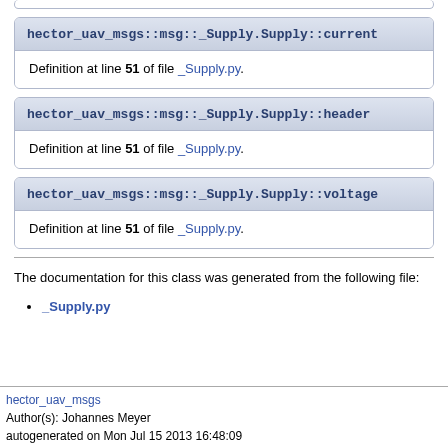hector_uav_msgs::msg::_Supply.Supply::current
Definition at line 51 of file _Supply.py.
hector_uav_msgs::msg::_Supply.Supply::header
Definition at line 51 of file _Supply.py.
hector_uav_msgs::msg::_Supply.Supply::voltage
Definition at line 51 of file _Supply.py.
The documentation for this class was generated from the following file:
_Supply.py
hector_uav_msgs
Author(s): Johannes Meyer
autogenerated on Mon Jul 15 2013 16:48:09